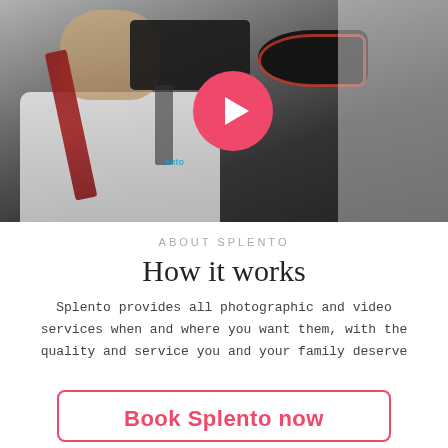[Figure (photo): Photographer holding a DSLR camera up to their face, wearing a white shirt with a red camera strap and lanyard. A pink/red circular play button overlay is centered on the image.]
ABOUT SPLENTO
How it works
Splento provides all photographic and video services when and where you want them, with the quality and service you and your family deserve
Book Splento now